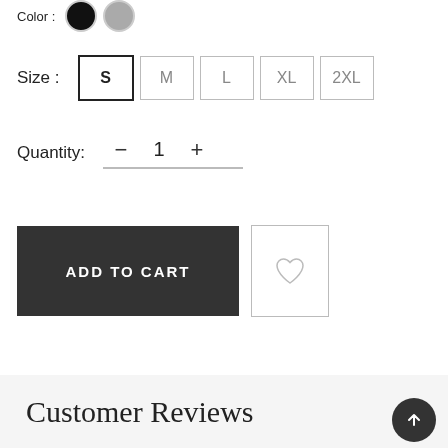[Figure (other): Color swatches: black circle and gray circle with 'Color :' label]
Size :
S  M  L  XL  2XL
Quantity:
- 1 +
ADD TO CART
[Figure (other): Wishlist heart icon button]
Customer Reviews
[Figure (other): Scroll to top arrow button (dark circle with up arrow)]